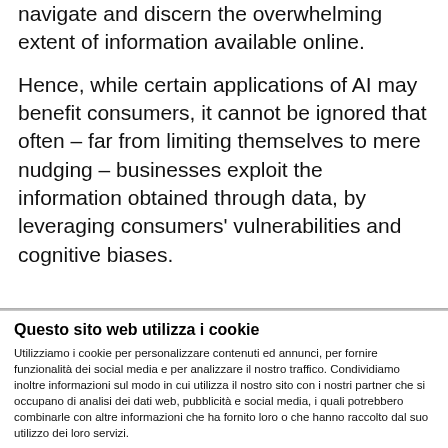navigate and discern the overwhelming extent of information available online.
Hence, while certain applications of AI may benefit consumers, it cannot be ignored that often – far from limiting themselves to mere nudging – businesses exploit the information obtained through data, by leveraging consumers' vulnerabilities and cognitive biases.
Questo sito web utilizza i cookie
Utilizziamo i cookie per personalizzare contenuti ed annunci, per fornire funzionalità dei social media e per analizzare il nostro traffico. Condividiamo inoltre informazioni sul modo in cui utilizza il nostro sito con i nostri partner che si occupano di analisi dei dati web, pubblicità e social media, i quali potrebbero combinarle con altre informazioni che ha fornito loro o che hanno raccolto dal suo utilizzo dei loro servizi.
Accetta selezionati | Accetta tutti i cookie
Necessari [checked] Preferenze [ ] Statistiche [ ] Marketing [ ] | Mostra dettagli